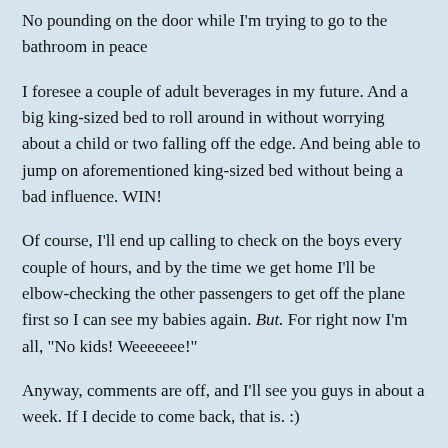No pounding on the door while I'm trying to go to the bathroom in peace
I foresee a couple of adult beverages in my future. And a big king-sized bed to roll around in without worrying about a child or two falling off the edge. And being able to jump on aforementioned king-sized bed without being a bad influence. WIN!
Of course, I'll end up calling to check on the boys every couple of hours, and by the time we get home I'll be elbow-checking the other passengers to get off the plane first so I can see my babies again. But. For right now I'm all, "No kids! Weeeeeee!"
Anyway, comments are off, and I'll see you guys in about a week. If I decide to come back, that is. :)